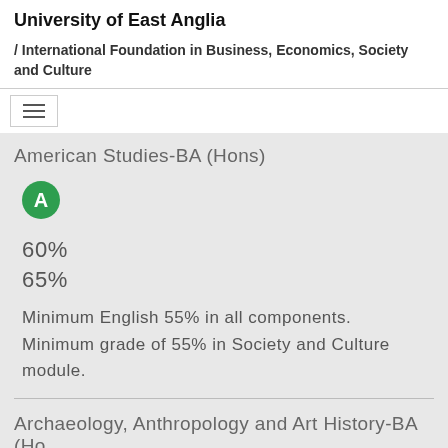University of East Anglia
/ International Foundation in Business, Economics, Society and Culture
American Studies-BA (Hons)
[Figure (other): Green circle badge with letter A]
60%
65%
Minimum English 55% in all components. Minimum grade of 55% in Society and Culture module.
Archaeology, Anthropology and Art History-BA (Ho...